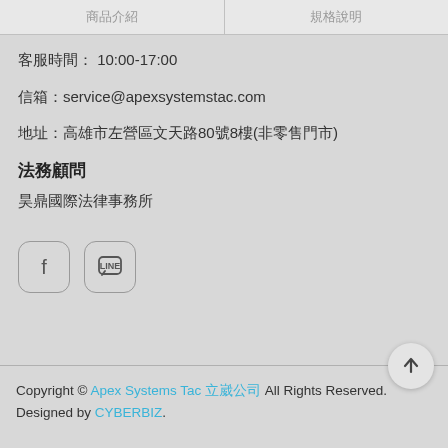商品介紹　　規格說明
客服時間： 10:00-17:00
信箱：service@apexsystemstac.com
地址：高雄市左營區文天路80號8樓(非零售門市)
法務顧問
昊鼎國際法律事務所
[Figure (logo): Facebook and LINE social media icon buttons]
Copyright © Apex Systems Tac 立崴公司 All Rights Reserved. Designed by CYBERBIZ.